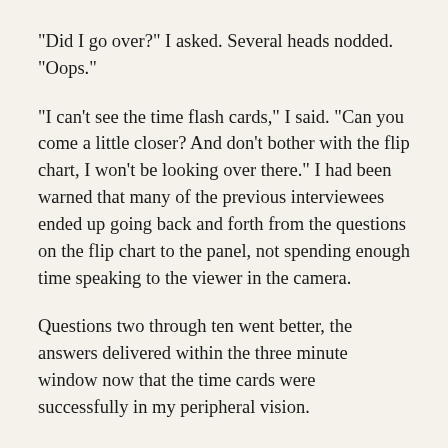"Did I go over?" I asked. Several heads nodded. "Oops."
"I can't see the time flash cards," I said. "Can you come a little closer? And don't bother with the flip chart, I won't be looking over there." I had been warned that many of the previous interviewees ended up going back and forth from the questions on the flip chart to the panel, not spending enough time speaking to the viewer in the camera.
Questions two through ten went better, the answers delivered within the three minute window now that the time cards were successfully in my peripheral vision.
Brandon, the camera operator, had asked me to sit still ten seconds at the end of the interview, while the camera kept rolling.
"Russell, we want to thank you for taking this time and